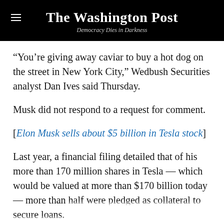The Washington Post — Democracy Dies in Darkness
“You’re giving away caviar to buy a hot dog on the street in New York City,” Wedbush Securities analyst Dan Ives said Thursday.
Musk did not respond to a request for comment.
[Elon Musk sells about $5 billion in Tesla stock]
Last year, a financial filing detailed that of his more than 170 million shares in Tesla — which would be valued at more than $170 billion today — more than half were pledged as collateral to secure loans.